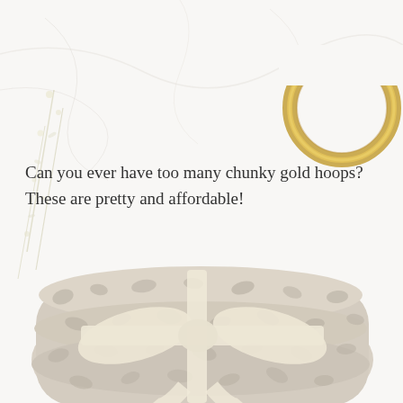[Figure (photo): A gold chunky hoop earring on a white marble background with dried flowers, and a folded leopard-print soft blanket tied with a cream ribbon bow in the lower half of the image.]
Can you ever have too many chunky gold hoops? These are pretty and affordable!